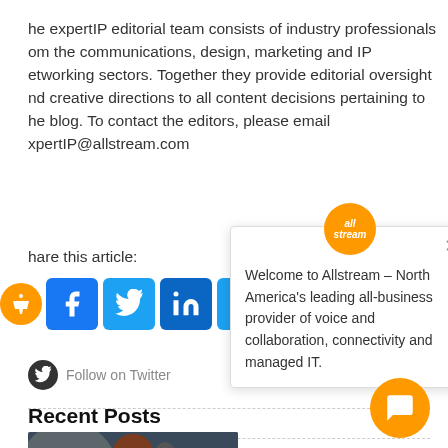he expertIP editorial team consists of industry professionals om the communications, design, marketing and IP etworking sectors. Together they provide editorial oversight nd creative directions to all content decisions pertaining to he blog. To contact the editors, please email xpertIP@allstream.com
hare this article:
[Figure (other): Social sharing icons: accessibility button (orange), Facebook (blue), Twitter (blue), LinkedIn (blue), Email (blue), and a partial more icon]
Follow on Twitter
Recent Posts
[Figure (photo): Photo of a woman with microphone in a recording/podcast studio setting]
[Figure (other): Allstream popup overlay with orange logo circle, close X button, and text: Welcome to Allstream – North America's leading all-business provider of voice and collaboration, connectivity and managed IT.]
Welcome to Allstream – North America's leading all-business provider of voice and collaboration, connectivity and managed IT.